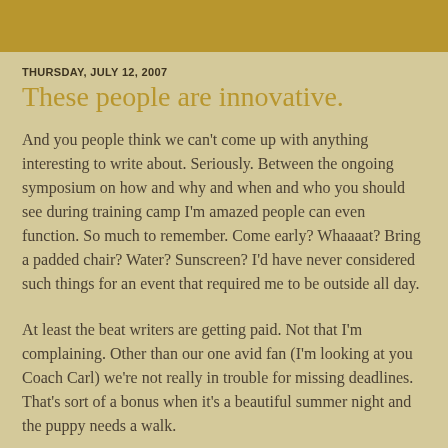THURSDAY, JULY 12, 2007
These people are innovative.
And you people think we can't come up with anything interesting to write about. Seriously. Between the ongoing symposium on how and why and when and who you should see during training camp I'm amazed people can even function. So much to remember. Come early? Whaaaat? Bring a padded chair? Water? Sunscreen? I'd have never considered such things for an event that required me to be outside all day.
At least the beat writers are getting paid. Not that I'm complaining. Other than our one avid fan (I'm looking at you Coach Carl) we're not really in trouble for missing deadlines. That's sort of a bonus when it's a beautiful summer night and the puppy needs a walk.